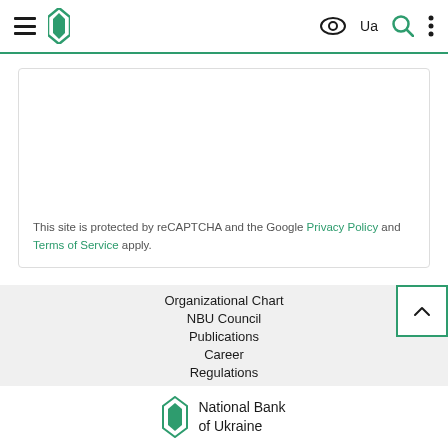NBU National Bank of Ukraine - navigation header with hamburger menu, logo, eye icon, Ua language toggle, search icon, more options
This site is protected by reCAPTCHA and the Google Privacy Policy and Terms of Service apply.
Organizational Chart
NBU Council
Publications
Career
Regulations
NBU Brand
International Cooperation
Strategy of the National Bank of Ukraine
Financial Sector Development
Microsites
[Figure (logo): National Bank of Ukraine logo - green diamond/facet icon with text 'National Bank of Ukraine']